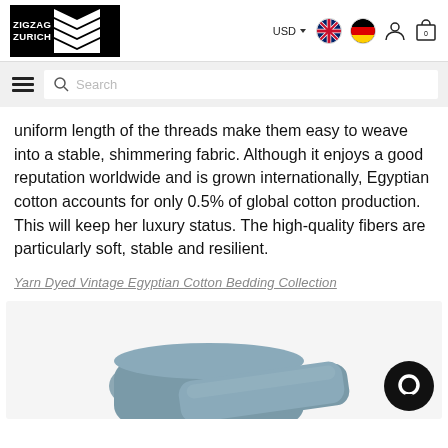[Figure (logo): ZigZag Zurich logo with black and white chevron pattern on dark background]
[Figure (screenshot): Website header with USD currency selector, UK and German flag icons, user account icon, and cart icon showing 0 items]
[Figure (screenshot): Website navigation search bar with hamburger menu icon and search field]
uniform length of the threads make them easy to weave into a stable, shimmering fabric. Although it enjoys a good reputation worldwide and is grown internationally, Egyptian cotton accounts for only 0.5% of global cotton production. This will keep her luxury status. The high-quality fibers are particularly soft, stable and resilient.
Yarn Dyed Vintage Egyptian Cotton Bedding Collection
[Figure (photo): Gray/blue decorative pillows displayed against white background in e-commerce product view, with chat support bubble icon in bottom right corner]